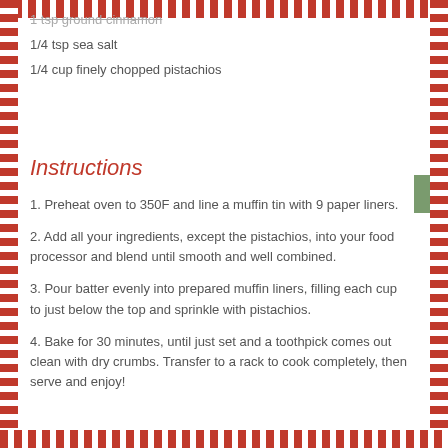1 tsp ground cinnamon
1/4 tsp sea salt
1/4 cup finely chopped pistachios
Instructions
1. Preheat oven to 350F and line a muffin tin with 9 paper liners.
2. Add all your ingredients, except the pistachios, into your food processor and blend until smooth and well combined.
3. Pour batter evenly into prepared muffin liners, filling each cup to just below the top and sprinkle with pistachios.
4. Bake for 30 minutes, until just set and a toothpick comes out clean with dry crumbs. Transfer to a rack to cook completely, then serve and enjoy!